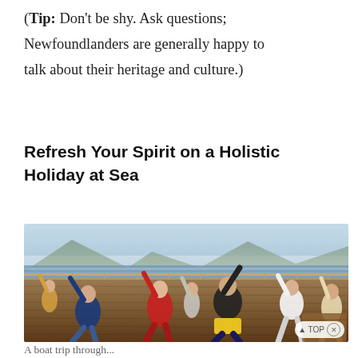(Tip: Don't be shy. Ask questions; Newfoundlanders are generally happy to talk about their heritage and culture.)
Refresh Your Spirit on a Holistic Holiday at Sea
[Figure (photo): Group of people doing yoga or stretching exercises on the deck of a cruise ship, with mountains and water visible in the background. People wear colorful clothing — blue, red, yellow, white. Wooden deck with railing visible.]
A boat trip through...